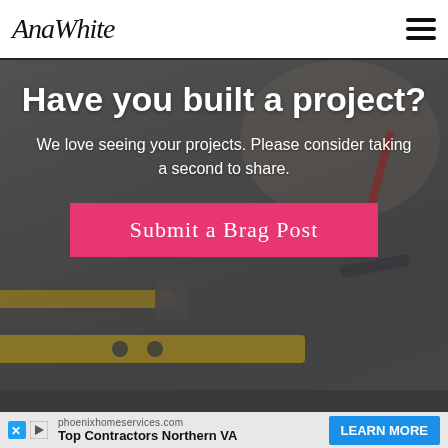AnaWhite
Have you built a project?
We love seeing your projects.  Please consider taking a second to share.
[Figure (illustration): Pink/magenta button with handwritten-style text reading 'Submit a Brag Post' overlaid on a blurred background photo of woodworking tools (hammer, level, pencil) on a workbench]
phoenixhomeservices.com
Top Contractors Northern VA
LEARN MORE